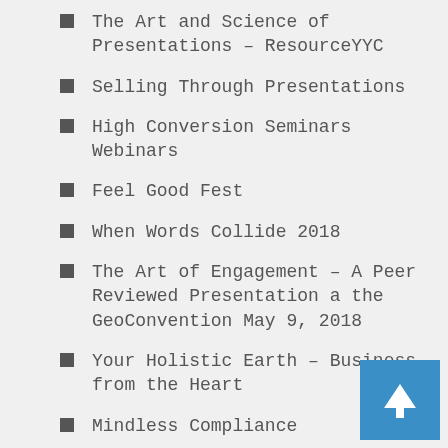The Art and Science of Presentations – ResourceYYC
Selling Through Presentations
High Conversion Seminars Webinars
Feel Good Fest
When Words Collide 2018
The Art of Engagement – A Peer Reviewed Presentation a the GeoConvention May 9, 2018
Your Holistic Earth – Business from the Heart
Mindless Compliance
A short discussion on 20 minutes presentation content
IPAC live workshop on marketing and publishing your book